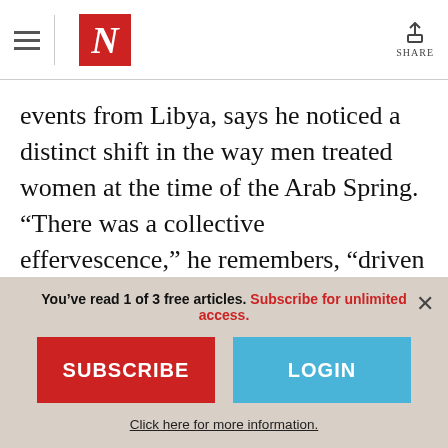The Nation — navigation header with hamburger menu, N logo, and Share button
events from Libya, says he noticed a distinct shift in the way men treated women at the time of the Arab Spring. “There was a collective effervescence,” he remembers, “driven by solidarity and a sense that we are all valuable human beings.” This outpouring of respect for women was evident when demonstration leaders cordoned off areas for
You’ve read 1 of 3 free articles. Subscribe for unlimited access.
SUBSCRIBE
LOGIN
Click here for more information.